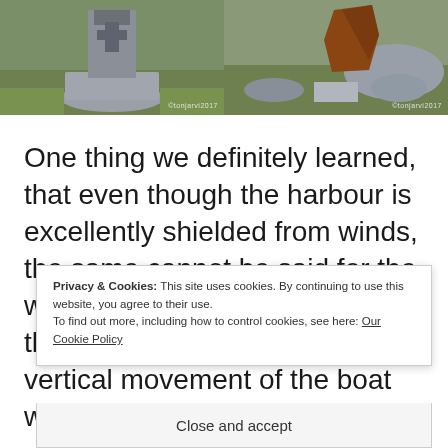[Figure (photo): Two side-by-side outdoor photos of stone sculptures on pedestals in a grassy area. Left photo watermark: ©tonjarvi2017, Right photo watermark: ©tonjarvi2017]
One thing we definitely learned, that even though the harbour is excellently shielded from winds, the same cannot be said for the waves. This had to be one of the worst nights ever. The vertical movement of the boat was [partially obscured] [partially obscured]
Privacy & Cookies: This site uses cookies. By continuing to use this website, you agree to their use.
To find out more, including how to control cookies, see here: Our Cookie Policy
Close and accept